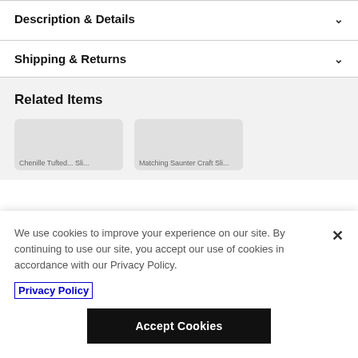Description & Details
Shipping & Returns
Related Items
We use cookies to improve your experience on our site. By continuing to use our site, you accept our use of cookies in accordance with our Privacy Policy.
Privacy Policy
Accept Cookies